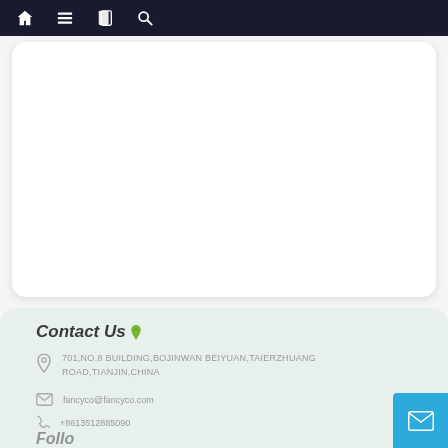Navigation bar with home, menu, card, and search icons
[Figure (other): White rounded card area, empty content region]
Contact Us
701,NO.8 BUILDING,BOJINWAN BEIYUAN,TAIERZHUANG ROAD,TIANJIN,CHINA
fancyco@fancyco.com
+8613512885090
Follow Us